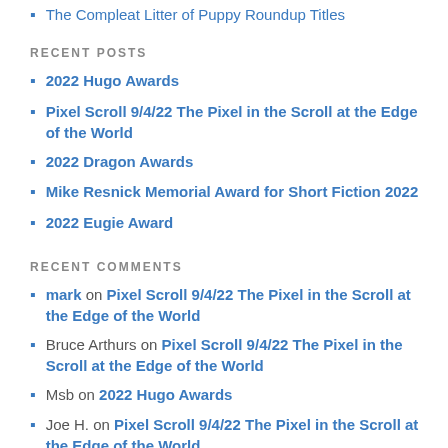The Compleat Litter of Puppy Roundup Titles
RECENT POSTS
2022 Hugo Awards
Pixel Scroll 9/4/22 The Pixel in the Scroll at the Edge of the World
2022 Dragon Awards
Mike Resnick Memorial Award for Short Fiction 2022
2022 Eugie Award
RECENT COMMENTS
mark on Pixel Scroll 9/4/22 The Pixel in the Scroll at the Edge of the World
Bruce Arthurs on Pixel Scroll 9/4/22 The Pixel in the Scroll at the Edge of the World
Msb on 2022 Hugo Awards
Joe H. on Pixel Scroll 9/4/22 The Pixel in the Scroll at the Edge of the World
David Goldfarb on Pixel Scroll 9/4/22 The Pixel in the Scroll at the Edge of the World